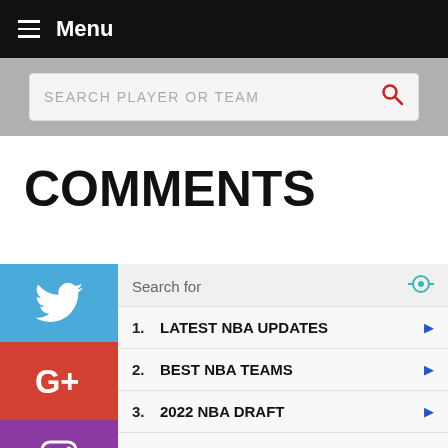Menu
SEARCH PLAYER OR TEAM
COMMENTS
1. LATEST NBA UPDATES
2. BEST NBA TEAMS
3. 2022 NBA DRAFT
4. TOP NBA PLAYERS
5. BOSTON CELTICS JERSEYS